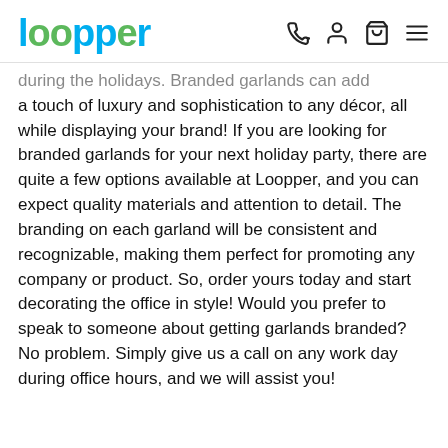Loopper logo and navigation icons
during the holidays. Branded garlands can add a touch of luxury and sophistication to any décor, all while displaying your brand! If you are looking for branded garlands for your next holiday party, there are quite a few options available at Loopper, and you can expect quality materials and attention to detail. The branding on each garland will be consistent and recognizable, making them perfect for promoting any company or product. So, order yours today and start decorating the office in style! Would you prefer to speak to someone about getting garlands branded? No problem. Simply give us a call on any work day during office hours, and we will assist you!